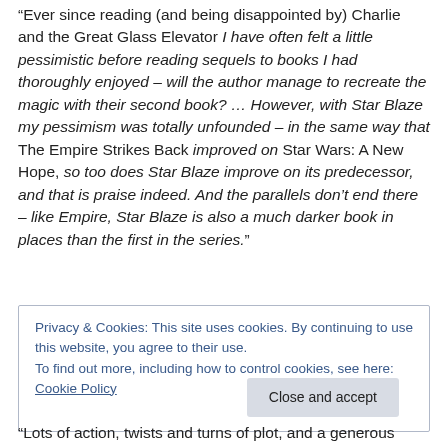“Ever since reading (and being disappointed by) Charlie and the Great Glass Elevator I have often felt a little pessimistic before reading sequels to books I had thoroughly enjoyed – will the author manage to recreate the magic with their second book? … However, with Star Blaze my pessimism was totally unfounded – in the same way that The Empire Strikes Back improved on Star Wars: A New Hope, so too does Star Blaze improve on its predecessor, and that is praise indeed. And the parallels don’t end there – like Empire, Star Blaze is also a much darker book in places than the first in the series.”
Privacy & Cookies: This site uses cookies. By continuing to use this website, you agree to their use.
To find out more, including how to control cookies, see here: Cookie Policy
Close and accept
“Lots of action, twists and turns of plot, and a generous